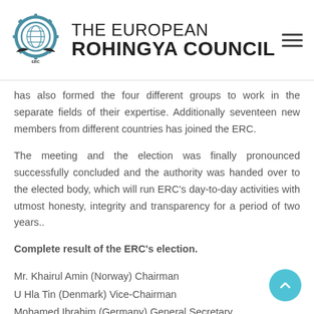THE EUROPEAN ROHINGYA COUNCIL
has also formed the four different groups to work in the separate fields of their expertise. Additionally seventeen new members from different countries has joined the ERC.
The meeting and the election was finally pronounced successfully concluded and the authority was handed over to the elected body, which will run ERC's day-to-day activities with utmost honesty, integrity and transparency for a period of two years..
Complete result of the ERC's election.
Mr. Khairul Amin (Norway) Chairman
U Hla Tin (Denmark) Vice-Chairman
Mohamed Ibrahim (Germany) General Secretary